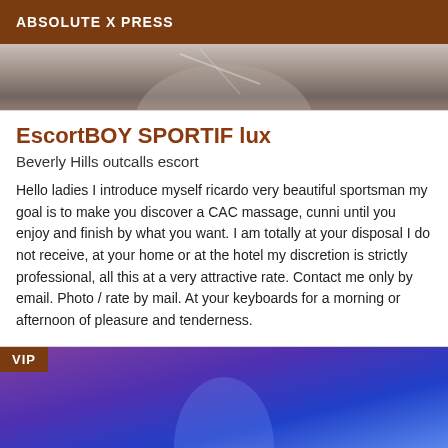ABSOLUTE X PRESS
[Figure (photo): Grayscale photo showing a torso/body against a light background]
EscortBOY SPORTIF lux
Beverly Hills outcalls escort
Hello ladies I introduce myself ricardo very beautiful sportsman my goal is to make you discover a CAC massage, cunni until you enjoy and finish by what you want. I am totally at your disposal I do not receive, at your home or at the hotel my discretion is strictly professional, all this at a very attractive rate. Contact me only by email. Photo / rate by mail. At your keyboards for a morning or afternoon of pleasure and tenderness.
[Figure (photo): Photo of a person under blue/purple UV lighting with VIP badge overlay]